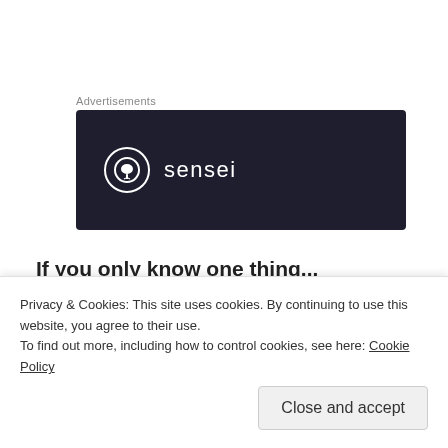Advertisements
[Figure (logo): Dark navy advertisement banner with circular tree icon and text 'sensei']
If you only know one thing...
As unbelievable as it sounds, this film is an accurate depiction of real events at a McDonald's in Mt Washington, Kentucky in 2004. It is one of about 70 hoax calls made across the USA where the caller duped
Privacy & Cookies: This site uses cookies. By continuing to use this website, you agree to their use.
To find out more, including how to control cookies, see here: Cookie Policy
Close and accept